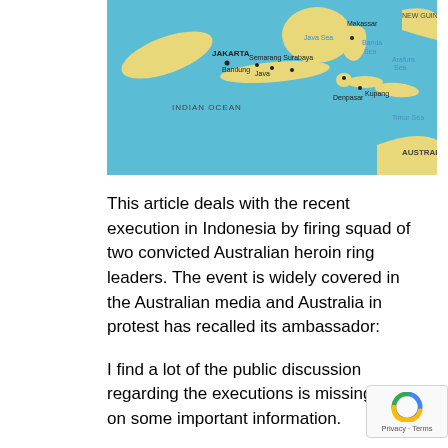[Figure (map): Map of Indonesia showing major cities including Jakarta, Semarang, Surabaya, Bandung, Java, Bali, Denpasar, Makassar, and surrounding seas including Java Sea, Banda Sea, Arafura Sea, Timor Sea, and Indian Ocean. Australia is visible in the lower right corner.]
This article deals with the recent execution in Indonesia by firing squad of two convicted Australian heroin ring leaders. The event is widely covered in the Australian media and Australia in protest has recalled its ambassador:
I find a lot of the public discussion regarding the executions is missing out on some important information.
To start with let me assure you that I am opposed the death penalty but what continues to surprise is that the Australian police tipped of the